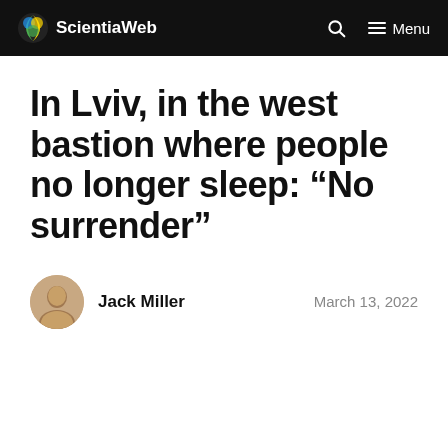ScientiaWeb
In Lviv, in the west bastion where people no longer sleep: “No surrender”
Jack Miller — March 13, 2022